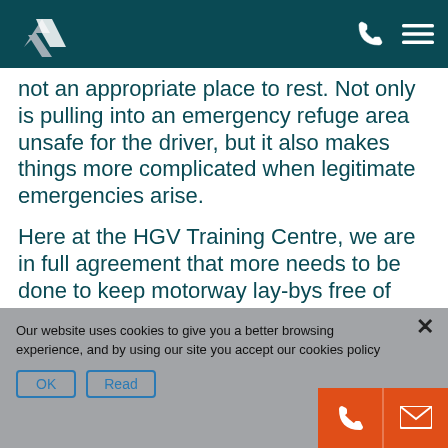HGV Training Centre website header with logo, phone and menu icons
not an appropriate place to rest. Not only is pulling into an emergency refuge area unsafe for the driver, but it also makes things more complicated when legitimate emergencies arise.
Here at the HGV Training Centre, we are in full agreement that more needs to be done to keep motorway lay-bys free of HGVs not using them for emergency purposes. We also believe that better CPC driver training would help fo...
Our website uses cookies to give you a better browsing experience, and by using our site you accept our cookies policy